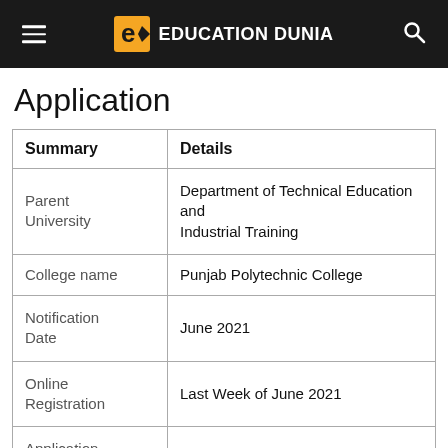EDUCATION DUNIA
Application
| Summary | Details |
| --- | --- |
| Parent University | Department of Technical Education and Industrial Training |
| College name | Punjab Polytechnic College |
| Notification Date | June 2021 |
| Online Registration | Last Week of June 2021 |
| Application Process | Online |
| Course offered | Diploma Course |